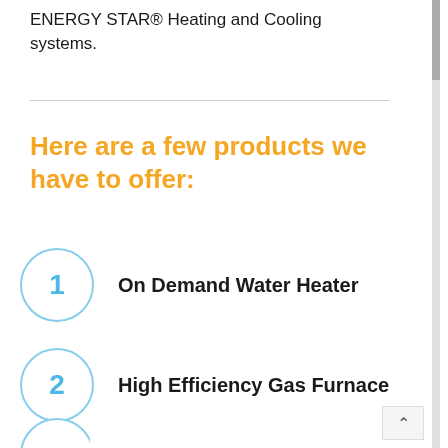ENERGY STAR® Heating and Cooling systems.
Here are a few products we have to offer:
1  On Demand Water Heater
2  High Efficiency Gas Furnace